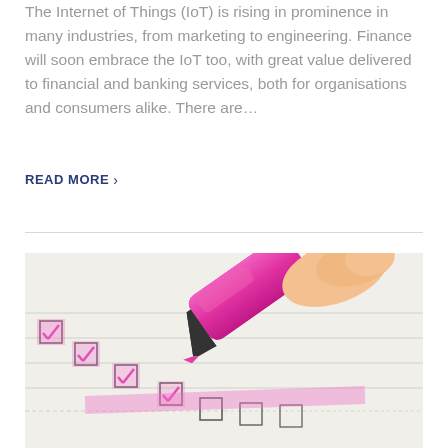The Internet of Things (IoT) is rising in prominence in many industries, from marketing to engineering. Finance will soon embrace the IoT too, with great value delivered to financial and banking services, both for organisations and consumers alike. There are...
READ MORE >
[Figure (photo): Close-up photo of a hand holding a pink highlighter marker, checking boxes on a checklist/form. The checklist shows multiple small checkboxes with pink check marks highlighted.]